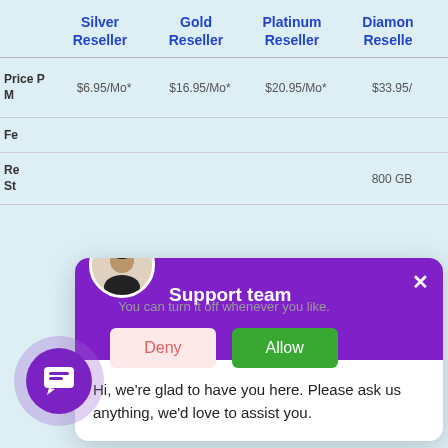|  | Silver Reseller | Gold Reseller | Platinum Reseller | Diamond Reseller |
| --- | --- | --- | --- | --- |
| Price Per Mo | $6.95/Mo* | $16.95/Mo* | $20.95/Mo* | $33.95/... |
| Fe... |  |  |  |  |
| Re... St... |  |  |  | 800 GB |
[Figure (screenshot): Chat support popup with purple header showing 'Support team', agent avatar photo, greeting message 'Hi, we're glad to have you here. Please ask us anything, we'd love to assist you.', and message input field.]
You can turn it off whenever you like.
[Figure (other): Purple chat bubble icon button on light purple circular background, bottom left corner.]
Deny
Allow